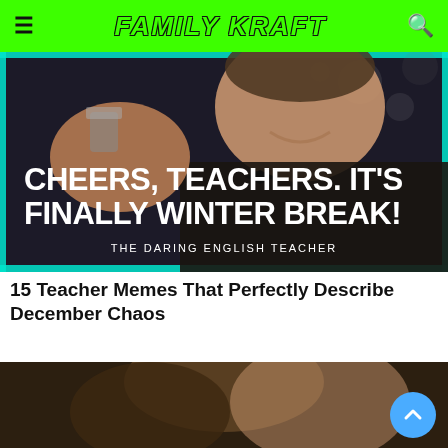FAMILY KRAFT
[Figure (photo): Meme image of a man in a tuxedo raising a glass, with text overlay: CHEERS, TEACHERS. IT'S FINALLY WINTER BREAK! THE DARING ENGLISH TEACHER]
15 Teacher Memes That Perfectly Describe December Chaos
[Figure (photo): Partial view of another meme image, partially visible at bottom of page]